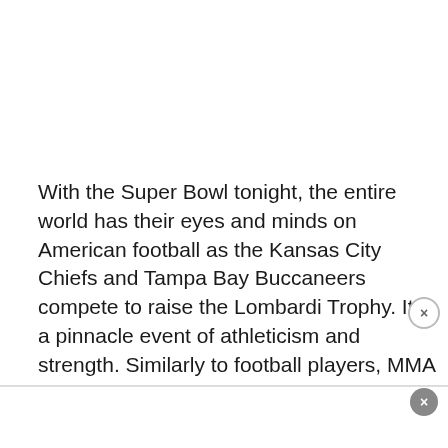With the Super Bowl tonight, the entire world has their eyes and minds on American football as the Kansas City Chiefs and Tampa Bay Buccaneers compete to raise the Lombardi Trophy. It is a pinnacle event of athleticism and strength. Similarly to football players, MMA fighters constantly express a combination of strength and athleticism when they are considered, MMA Sucka has put together a team, comprised of MMA fighters...
[Figure (screenshot): Video overlay showing MMA fighters facing off at a weigh-in, with event branding text 'ETTIS vs ORIGUCHI' and 'FRIDAY DEC 3', a play button in the center, and a close button in the top right.]